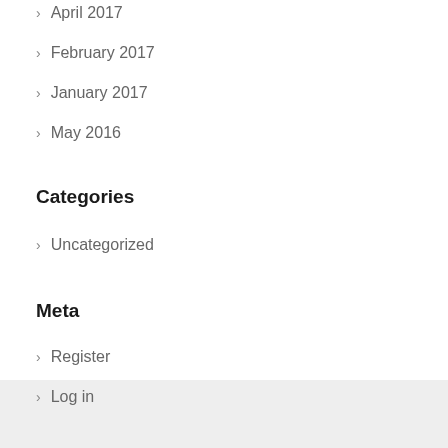> April 2017
> February 2017
> January 2017
> May 2016
Categories
> Uncategorized
Meta
> Register
> Log in
> Entries feed
> Comments feed
> WordPress.com